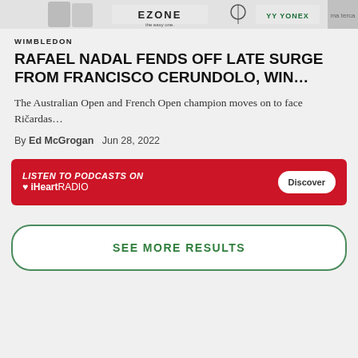[Figure (other): Advertisement banner at top showing tennis equipment brands EZONE and YONEX with two player figures]
WIMBLEDON
RAFAEL NADAL FENDS OFF LATE SURGE FROM FRANCISCO CERUNDOLO, WIN...
The Australian Open and French Open champion moves on to face Ričardas…
By Ed McGrogan    Jun 28, 2022
[Figure (other): Advertisement banner for iHeartRADIO: LISTEN TO PODCASTS ON iHeartRADIO with a Discover button]
SEE MORE RESULTS